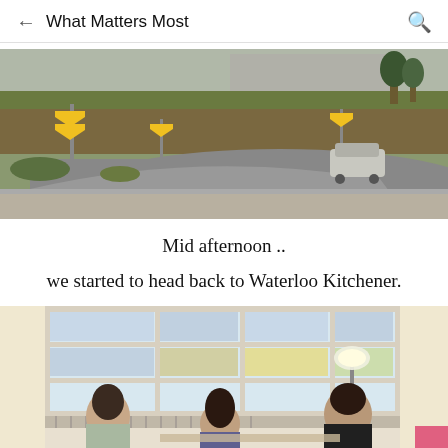What Matters Most
[Figure (photo): A curved road with yellow chevron signs on a hillside, a concrete structure in the background, trees, and a silver SUV parked on the road. Overcast daylight.]
Mid afternoon ..
we started to head back to Waterloo Kitchener.
[Figure (photo): Three women sitting in a cozy indoor room with large French windows, white curtains, and a floor lamp glowing warmly. They are smiling and relaxed.]